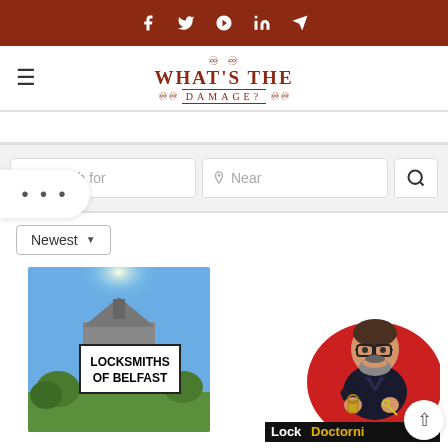Social media icons bar: Facebook, Twitter, Pinterest, LinkedIn, Telegram
WHAT'S THE DAMAGE?
[Figure (screenshot): Search interface with 'Search for' and 'Near' input fields and a search button]
Newest (dropdown)
[Figure (photo): Locksmiths of Belfast listing card showing a cityscape image with a label overlay]
[Figure (logo): Lock Doctorni logo showing a cartoon man with glasses holding keys, on a red circle background]